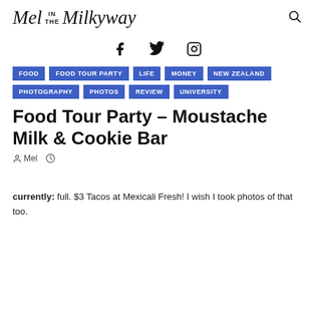Mel in the Milkyway
[Figure (other): Social media icons: Facebook, Twitter, Instagram]
FOOD
FOOD TOUR PARTY
LIFE
MONEY
NEW ZEALAND
PHOTOGRAPHY
PHOTOS
REVIEW
UNIVERSITY
Food Tour Party – Moustache Milk & Cookie Bar
Mel
currently: full. $3 Tacos at Mexicali Fresh! I wish I took photos of that too.